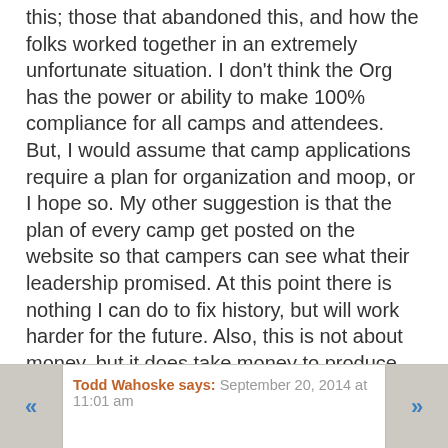this; those that abandoned this, and how the folks worked together in an extremely unfortunate situation. I don't think the Org has the power or ability to make 100% compliance for all camps and attendees. But, I would assume that camp applications require a plan for organization and moop, or I hope so. My other suggestion is that the plan of every camp get posted on the website so that campers can see what their leadership promised. At this point there is nothing I can do to fix history, but will work harder for the future. Also, this is not about money, but it does take money to produce BM and clean up. I will look for ways to donate to the folks that do the clean-up, but that work is an unbelievable love for Burning Man.
Report comment
Todd Wahoske says: September 20, 2014 at 11:01 am